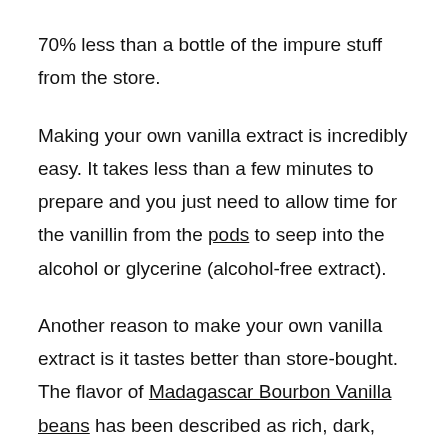70% less than a bottle of the impure stuff from the store.
Making your own vanilla extract is incredibly easy. It takes less than a few minutes to prepare and you just need to allow time for the vanillin from the pods to seep into the alcohol or glycerine (alcohol-free extract).
Another reason to make your own vanilla extract is it tastes better than store-bought. The flavor of Madagascar Bourbon Vanilla beans has been described as rich, dark, and creamy as well as woody with notes of black licorice. You will not get to